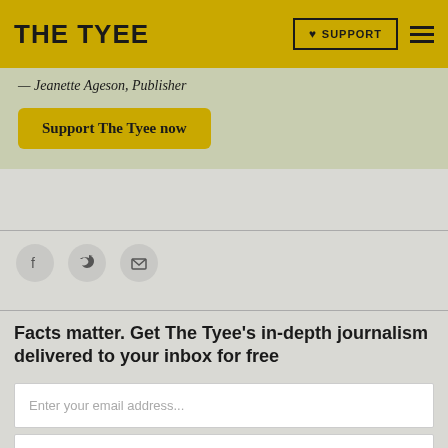THE TYEE — SUPPORT — Menu
— Jeanette Ageson, Publisher
Support The Tyee now
[Figure (other): Social share icons: Facebook, Twitter, Email]
Facts matter. Get The Tyee's in-depth journalism delivered to your inbox for free
Enter your email address...
Daily
Subscribe now